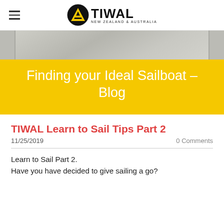TIWAL NEW ZEALAND & AUSTRALIA
[Figure (photo): Close-up photo of metallic or sail fabric with textured surface, grey tones]
Finding your Ideal Sailboat – Blog
TIWAL Learn to Sail Tips Part 2
11/25/2019    0 Comments
Learn to Sail Part 2.
Have you have decided to give sailing a go?